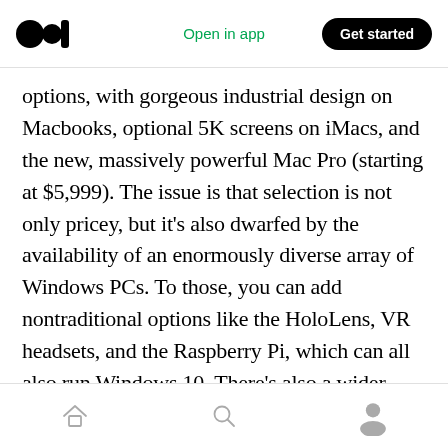Open in app | Get started
options, with gorgeous industrial design on Macbooks, optional 5K screens on iMacs, and the new, massively powerful Mac Pro (starting at $5,999). The issue is that selection is not only pricey, but it’s also dwarfed by the availability of an enormously diverse array of Windows PCs. To those, you can add nontraditional options like the HoloLens, VR headsets, and the Raspberry Pi, which can all also run Windows 10. There’s also a wider array of Windows-friendly peripherals to choose from.
Home | Search | Profile